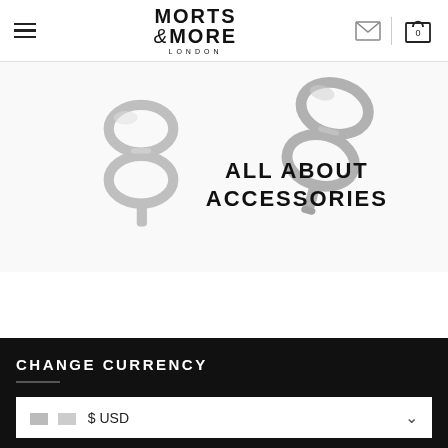Morts & More London — navigation header with hamburger menu, logo, email icon, and cart (0)
[Figure (photo): Silver ribbon/knot cufflinks on white background with bold text overlay reading ALL ABOUT ACCESSORIES]
ALL ABOUT ACCESSORIES
CHANGE CURRENCY
🇺🇸 $ USD